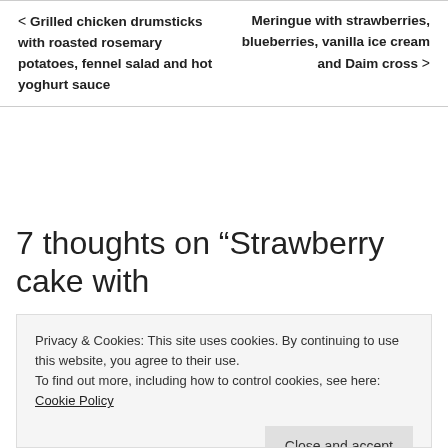< Grilled chicken drumsticks with roasted rosemary potatoes, fennel salad and hot yoghurt sauce
Meringue with strawberries, blueberries, vanilla ice cream and Daim cross >
7 thoughts on “Strawberry cake with
Privacy & Cookies: This site uses cookies. By continuing to use this website, you agree to their use.
To find out more, including how to control cookies, see here: Cookie Policy